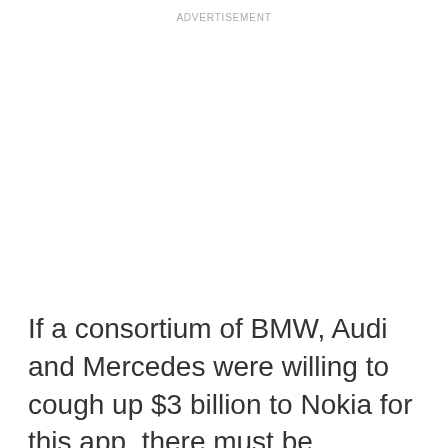ADVERTISEMENT
If a consortium of BMW, Audi and Mercedes were willing to cough up $3 billion to Nokia for this app, there must be something good about it, right? It supports over 200 countries and provides all basic features, like navigation, places